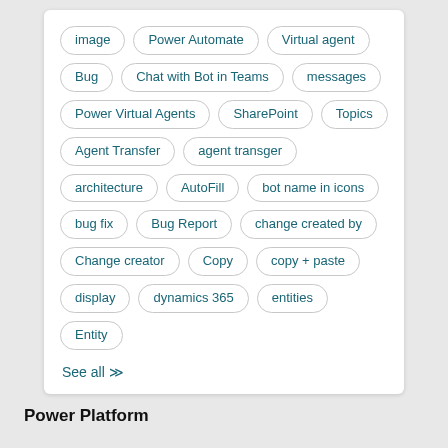image | Power Automate | Virtual agent | Bug | Chat with Bot in Teams | messages | Power Virtual Agents | SharePoint | Topics | Agent Transfer | agent transger | architecture | AutoFill | bot name in icons | bug fix | Bug Report | change created by | Change creator | Copy | copy + paste | display | dynamics 365 | entities | Entity
See all ≫
Power Platform